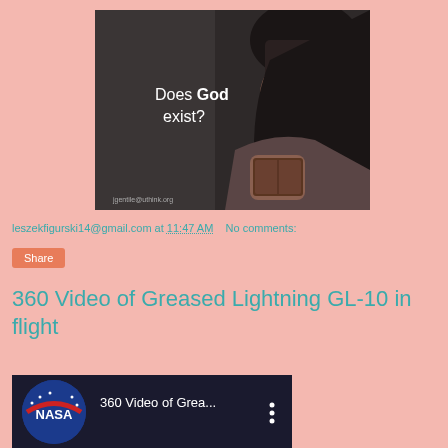[Figure (photo): Dark-themed image of a woman reading a book, with text overlay reading 'Does God exist?' and small watermark text 'jgentile@uthink.org']
leszekfigurski14@gmail.com at 11:47 AM    No comments:
Share
360 Video of Greased Lightning GL-10 in flight
[Figure (screenshot): Thumbnail of a YouTube video showing the NASA logo and text '360 Video of Grea...' with a menu icon]